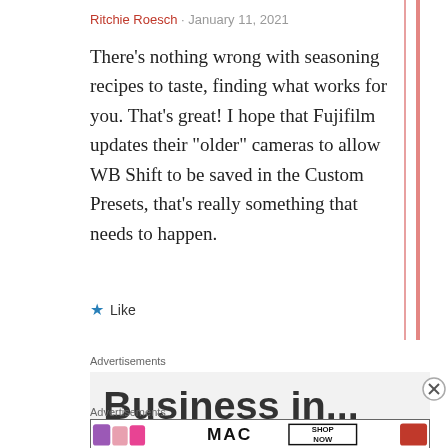Ritchie Roesch · January 11, 2021
There’s nothing wrong with seasoning recipes to taste, finding what works for you. That’s great! I hope that Fujifilm updates their “older” cameras to allow WB Shift to be saved in the Custom Presets, that’s really something that needs to happen.
★ Like
Advertisements
[Figure (screenshot): Partially visible advertisement banner with large bold text]
Advertisements
[Figure (photo): MAC cosmetics advertisement showing lipsticks with SHOP NOW text]